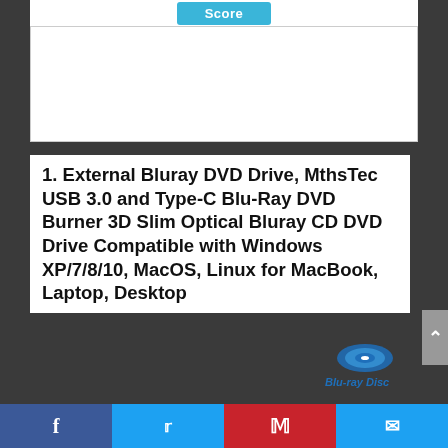[Figure (other): Score button/header area with cyan 'Score' button and white box below]
1. External Bluray DVD Drive, MthsTec USB 3.0 and Type-C Blu-Ray DVD Burner 3D Slim Optical Bluray CD DVD Drive Compatible with Windows XP/7/8/10, MacOS, Linux for MacBook, Laptop, Desktop
[Figure (logo): Blu-ray Disc logo in blue]
Facebook | Twitter | Pinterest | Email